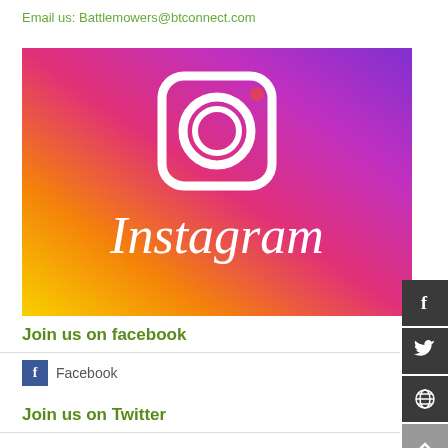Email us: Battlemowers@btconnect.com
[Figure (logo): Instagram logo banner with gradient background (purple to orange/yellow) featuring the Instagram camera icon and the word 'Instagram' in white script lettering]
Join us on facebook
Facebook
Join us on Twitter